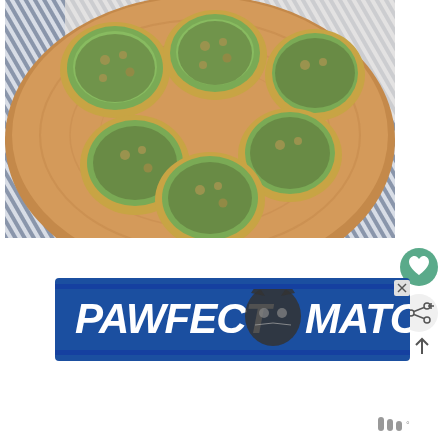[Figure (photo): Food photo showing avocado toast pieces topped with chickpeas and seeds on a round wooden cutting board, placed on a blue and white striped cloth]
[Figure (infographic): Advertisement banner for 'PAWFECT MATCH' showing bold white italic text on a blue background with a cat face silhouette in the middle]
[Figure (other): Green circular heart/favorite button and a light grey share button with arrow icons on the right side]